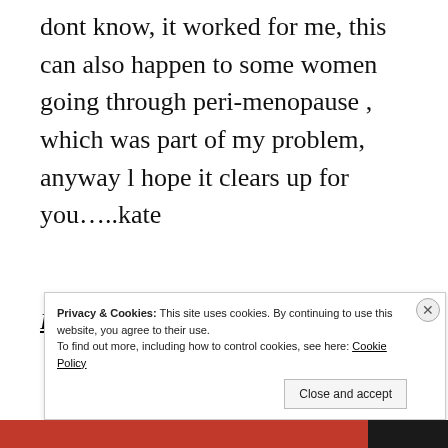dont know, it worked for me, this can also happen to some women going through peri-menopause , which was part of my problem, anyway l hope it clears up for you…..kate
Reply
••••••••••
Julie
Privacy & Cookies: This site uses cookies. By continuing to use this website, you agree to their use. To find out more, including how to control cookies, see here: Cookie Policy
Close and accept